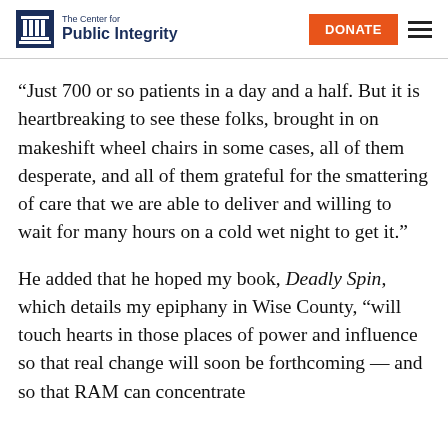[Figure (logo): The Center for Public Integrity logo with column icon and text, plus DONATE button and hamburger menu]
“Just 700 or so patients in a day and a half. But it is heartbreaking to see these folks, brought in on makeshift wheel chairs in some cases, all of them desperate, and all of them grateful for the smattering of care that we are able to deliver and willing to wait for many hours on a cold wet night to get it.”
He added that he hoped my book, Deadly Spin, which details my epiphany in Wise County, “will touch hearts in those places of power and influence so that real change will soon be forthcoming — and so that RAM can concentrate